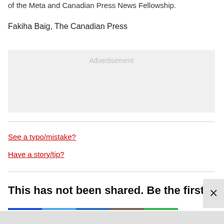of the Meta and Canadian Press News Fellowship.
Fakiha Baig, The Canadian Press
[Figure (other): Advertisement placeholder box with light gray background and 'Advertisement' label in light gray text]
See a typo/mistake?
Have a story/tip?
This has not been shared. Be the first!